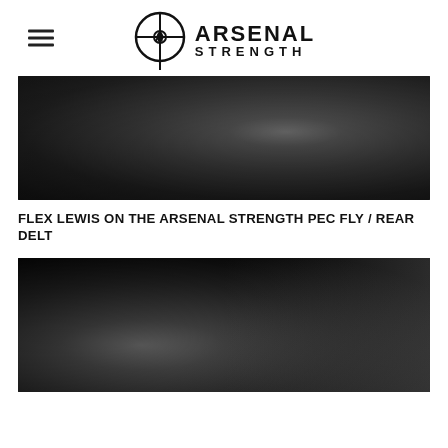Arsenal Strength
[Figure (photo): Video thumbnail showing a person using the Arsenal Strength Pec Fly / Rear Delt machine in a gym setting, dark background]
FLEX LEWIS ON THE ARSENAL STRENGTH PEC FLY / REAR DELT
[Figure (photo): Second video thumbnail showing a person using gym equipment, dark background with light streak]